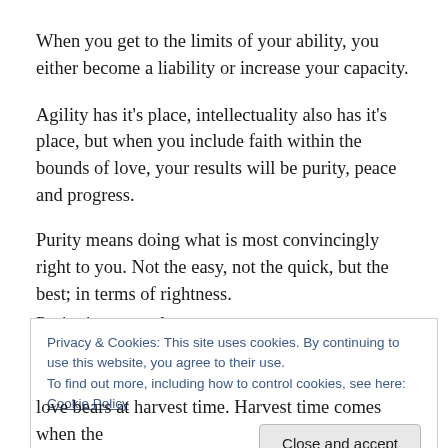When you get to the limits of your ability, you either become a liability or increase your capacity.
Agility has it's place, intellectuality also has it's place, but when you include faith within the bounds of love, your results will be purity, peace and progress.
Purity means doing what is most convincingly right to you. Not the easy, not the quick, but the best; in terms of rightness.
Purity is personal.
Privacy & Cookies: This site uses cookies. By continuing to use this website, you agree to their use.
To find out more, including how to control cookies, see here: Cookie Policy
[Close and accept]
love bears at harvest time. Harvest time comes when the